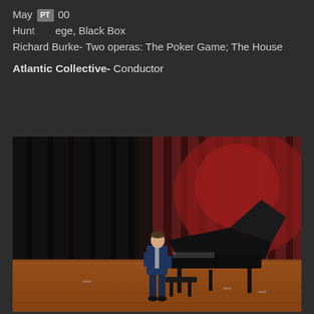May [PT] 00
Hunt[ington Col]lege, Black Box
Richard Burke- Two operas: The Poker Game; The House
Atlantic Collective- Conductor
[Figure (photo): A person in a blue suit standing beside a grand piano on a stage with dark red curtains in the background and warm wooden flooring.]